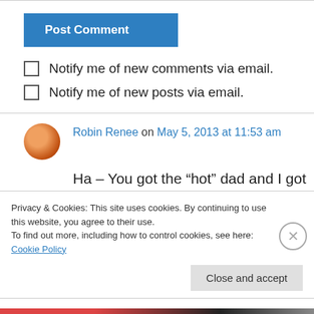[Figure (other): Post Comment button — blue rectangle with white bold text]
Notify me of new comments via email.
Notify me of new posts via email.
Robin Renee on May 5, 2013 at 11:53 am
Ha – You got the “hot” dad and I got the “slobby” dad, lol. I love you so much, my friend, and it is
Privacy & Cookies: This site uses cookies. By continuing to use this website, you agree to their use.
To find out more, including how to control cookies, see here: Cookie Policy